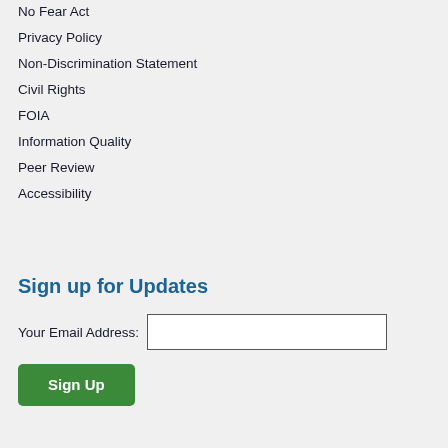No Fear Act
Privacy Policy
Non-Discrimination Statement
Civil Rights
FOIA
Information Quality
Peer Review
Accessibility
Sign up for Updates
Your Email Address:
Sign Up